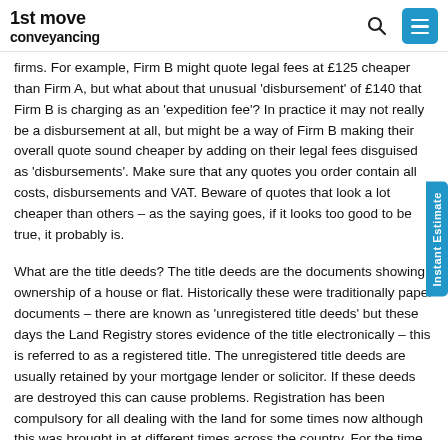1st move conveyancing
firms. For example, Firm B might quote legal fees at £125 cheaper than Firm A, but what about that unusual 'disbursement' of £140 that Firm B is charging as an 'expedition fee'? In practice it may not really be a disbursement at all, but might be a way of Firm B making their overall quote sound cheaper by adding on their legal fees disguised as 'disbursements'. Make sure that any quotes you order contain all costs, disbursements and VAT. Beware of quotes that look a lot cheaper than others – as the saying goes, if it looks too good to be true, it probably is.
What are the title deeds? The title deeds are the documents showing ownership of a house or flat. Historically these were traditionally paper documents – there are known as 'unregistered title deeds' but these days the Land Registry stores evidence of the title electronically – this is referred to as a registered title. The unregistered title deeds are usually retained by your mortgage lender or solicitor. If these deeds are destroyed this can cause problems. Registration has been compulsory for all dealing with the land for some times now although this was brought in at different times across the country. For the time in Allhallows you